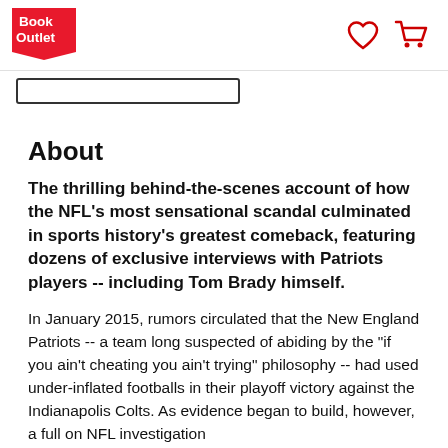Book Outlet [logo] [heart icon] [cart icon]
[Figure (logo): Book Outlet logo — red flag/banner shape with white text 'Book Outlet']
About
The thrilling behind-the-scenes account of how the NFL's most sensational scandal culminated in sports history's greatest comeback, featuring dozens of exclusive interviews with Patriots players -- including Tom Brady himself.
In January 2015, rumors circulated that the New England Patriots -- a team long suspected of abiding by the "if you ain't cheating you ain't trying" philosophy -- had used under-inflated footballs in their playoff victory against the Indianapolis Colts. As evidence began to build, however, a full on NFL investigation